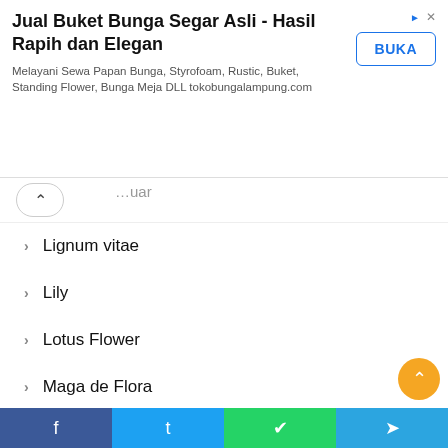[Figure (screenshot): Advertisement banner for Jual Buket Bunga Segar Asli flower shop with BUKA button]
> Lignum vitae
> Lily
> Lotus Flower
> Maga de Flora
> Maltese Centaury
> Mountain Avens
> National Flowers
> North America
> Nun Orchid
> Oceania